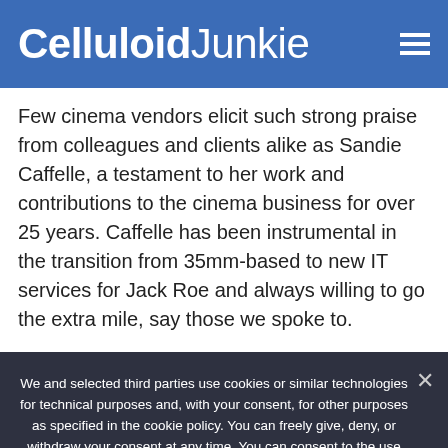CelluloidJunkie
Few cinema vendors elicit such strong praise from colleagues and clients alike as Sandie Caffelle, a testament to her work and contributions to the cinema business for over 25 years. Caffelle has been instrumental in the transition from 35mm-based to new IT services for Jack Roe and always willing to go the extra mile, say those we spoke to.
We and selected third parties use cookies or similar technologies for technical purposes and, with your consent, for other purposes as specified in the cookie policy. You can freely give, deny, or withdraw your consent at any time. You can consent to the use of such technologies by using the “Ok” button. By closing this notice, you continue without accepting.